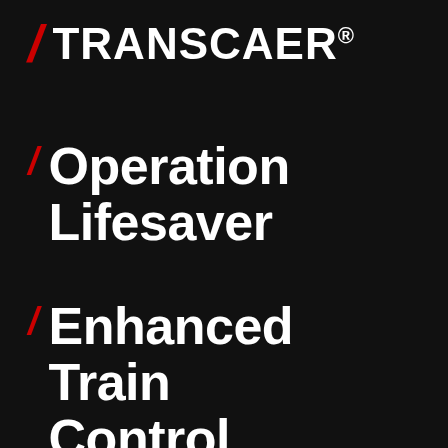TRANSCAER®
Operation Lifesaver
Enhanced Train Control